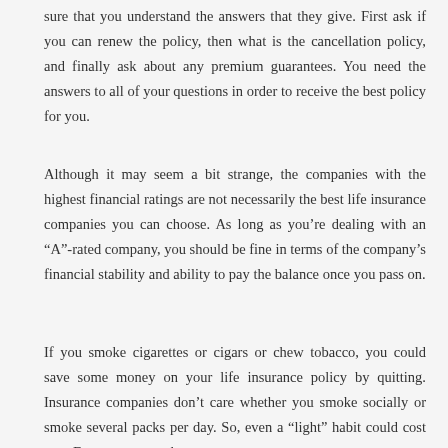sure that you understand the answers that they give. First ask if you can renew the policy, then what is the cancellation policy, and finally ask about any premium guarantees. You need the answers to all of your questions in order to receive the best policy for you.
Although it may seem a bit strange, the companies with the highest financial ratings are not necessarily the best life insurance companies you can choose. As long as you’re dealing with an “A”-rated company, you should be fine in terms of the company’s financial stability and ability to pay the balance once you pass on.
If you smoke cigarettes or cigars or chew tobacco, you could save some money on your life insurance policy by quitting. Insurance companies don’t care whether you smoke socially or smoke several packs per day. So, even a “light” habit could cost you. Even young smokers pay